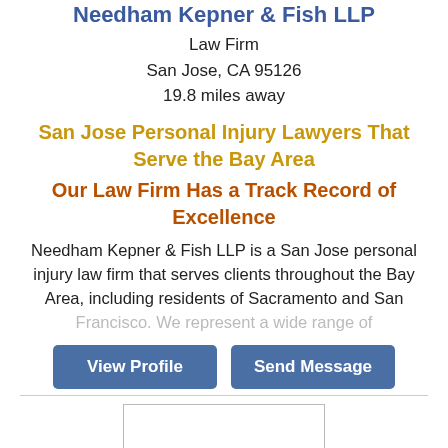Needham Kepner & Fish LLP
Law Firm
San Jose, CA 95126
19.8 miles away
San Jose Personal Injury Lawyers That Serve the Bay Area
Our Law Firm Has a Track Record of Excellence
Needham Kepner & Fish LLP is a San Jose personal injury law firm that serves clients throughout the Bay Area, including residents of Sacramento and San Francisco. We represent a wide range of
View Profile | Send Message
[Figure (logo): SHEA/McINTYRE, pc law firm logo in a bordered box]